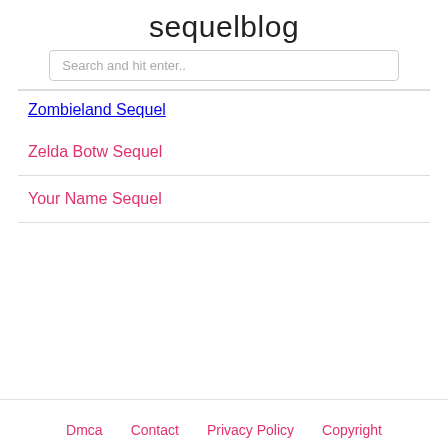sequelblog
Search and hit enter..
Zombieland Sequel
Zelda Botw Sequel
Your Name Sequel
Dmca   Contact   Privacy Policy   Copyright